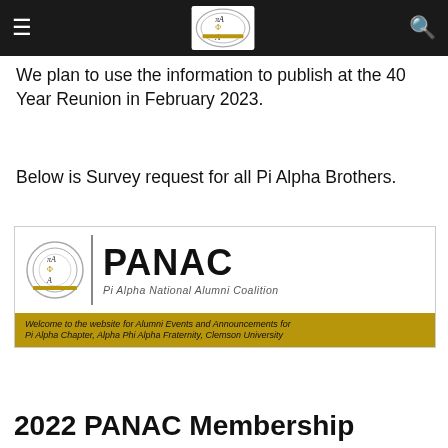Pi Alpha National Alumni Coalition — Navigation header
We plan to use the information to publish at the 40 Year Reunion in February 2023.
Below is Survey request for all Pi Alpha Brothers.
[Figure (logo): PANAC logo banner — Pi Alpha National Alumni Coalition, with crest, organization title, and gold bar reading: Welcome to the website for Alumni Events and Announcements for Pi Alpha Chapter, Alpha Phi Alpha Fraternity, Clemson University]
2022 PANAC Membership